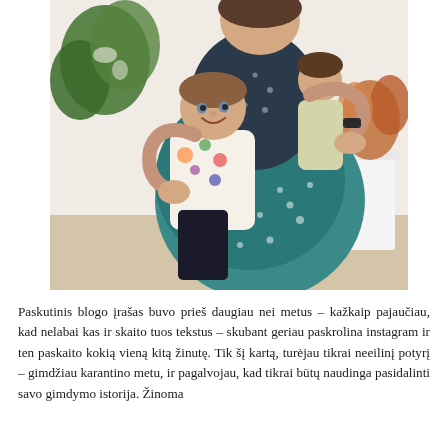[Figure (photo): A woman in a dark teal polka-dot dress hugging two young children, one wearing a colorful animal-print shirt. They are indoors with houseplants in the background.]
Paskutinis blogo įrašas buvo prieš daugiau nei metus – kažkaip pajaučiau, kad nelabai kas ir skaito tuos tekstus – skubant geriau paskrolina instagram ir ten paskaito kokią vieną kitą žinutę. Tik šį kartą, turėjau tikrai neeilinį potyrį – gimdžiau karantino metu, ir pagalvojau, kad tikrai būtų naudinga pasidalinti savo gimdymo istorija. Žinoma